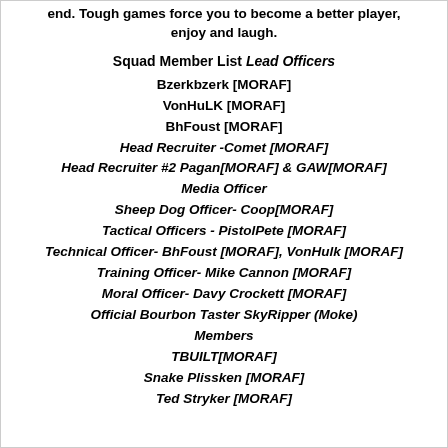end. Tough games force you to become a better player, enjoy and laugh.
Squad Member List Lead Officers
Bzerkbzerk [MORAF]
VonHuLK [MORAF]
BhFoust [MORAF]
Head Recruiter -Comet [MORAF]
Head Recruiter #2 Pagan[MORAF] & GAW[MORAF]
Media Officer
Sheep Dog Officer- Coop[MORAF]
Tactical Officers - PistolPete [MORAF]
Technical Officer- BhFoust [MORAF], VonHulk [MORAF]
Training Officer- Mike Cannon [MORAF]
Moral Officer- Davy Crockett [MORAF]
Official Bourbon Taster SkyRipper (Moke)
Members
TBUILT[MORAF]
Snake Plissken [MORAF]
Ted Stryker [MORAF]